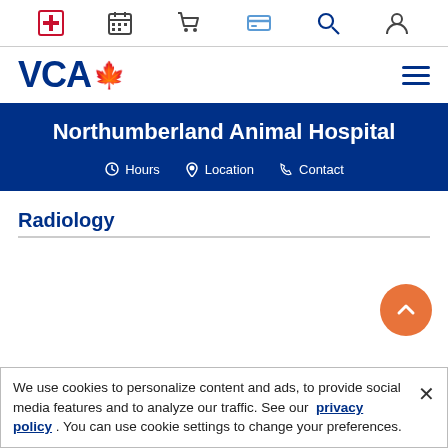[Figure (screenshot): Top navigation icon bar with six icons: medical cross, calendar, shopping cart, credit card, search, and user account]
[Figure (logo): VCA Canada logo with blue VCA text and red maple leaf]
Northumberland Animal Hospital
Hours  Location  Contact
Radiology
We use cookies to personalize content and ads, to provide social media features and to analyze our traffic. See our privacy policy . You can use cookie settings to change your preferences.